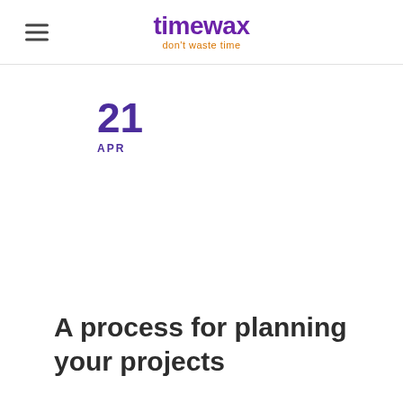timewax — don't waste time
21
APR
A process for planning your projects